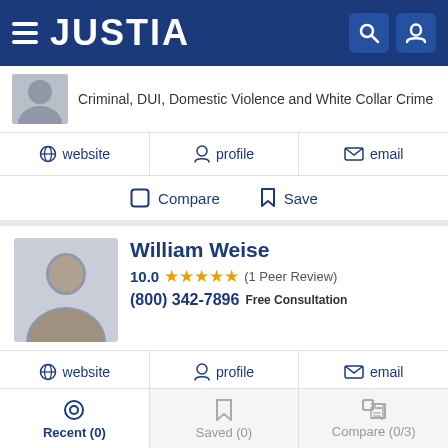JUSTIA
Criminal, DUI, Domestic Violence and White Collar Crime
website  profile  email
Compare  Save
William Weise
10.0 ★★★★★ (1 Peer Review)
(800) 342-7896 Free Consultation
website  profile  email
Compare  Save
Tiffany DeBruin
Recent (0)  Saved (0)  Compare (0/3)